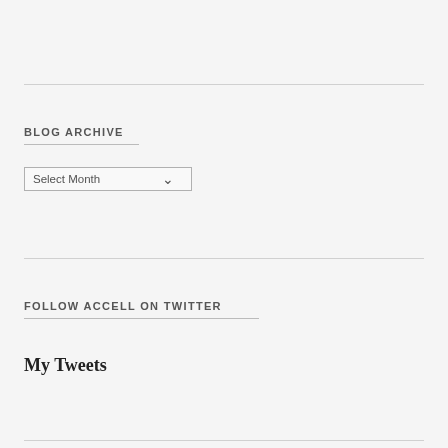BLOG ARCHIVE
Select Month
FOLLOW ACCELL ON TWITTER
My Tweets